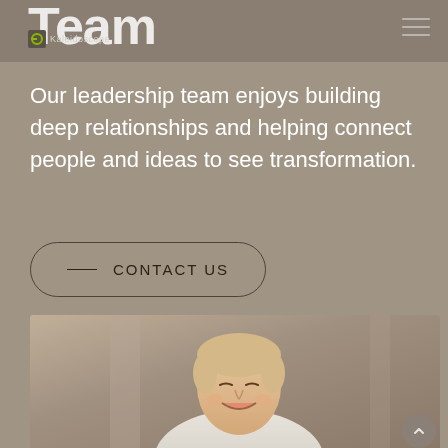Team
Our leadership team enjoys building deep relationships and helping connect people and ideas to see transformation.
Contact Us
[Figure (photo): Portrait photo of a smiling middle-aged man with light hair, wearing a white shirt, photographed outdoors in front of a brick wall background with bokeh blur effect.]